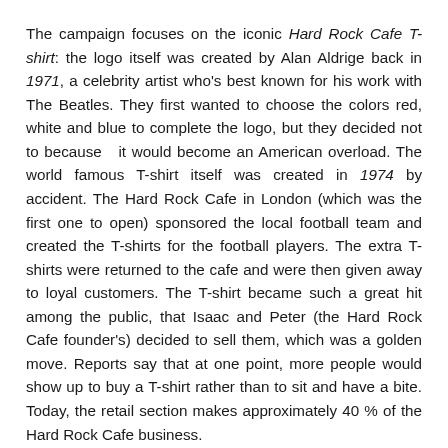The campaign focuses on the iconic Hard Rock Cafe T-shirt: the logo itself was created by Alan Aldrige back in 1971, a celebrity artist who's best known for his work with The Beatles. They first wanted to choose the colors red, white and blue to complete the logo, but they decided not to because  it would become an American overload. The world famous T-shirt itself was created in 1974 by accident. The Hard Rock Cafe in London (which was the first one to open) sponsored the local football team and created the T-shirts for the football players. The extra T-shirts were returned to the cafe and were then given away to loyal customers. The T-shirt became such a great hit among the public, that Isaac and Peter (the Hard Rock Cafe founder's) decided to sell them, which was a golden move. Reports say that at one point, more people would show up to buy a T-shirt rather than to sit and have a bite. Today, the retail section makes approximately 40 % of the Hard Rock Cafe business.
And like I said: I have a surprise for you!
One of you has the chance to WIN a dinner for two at the